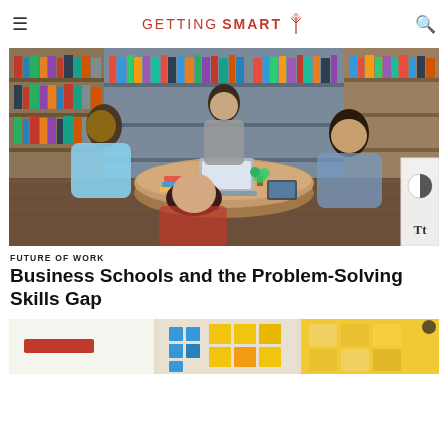GETTING SMART
[Figure (photo): Four students sitting around a round table in a library, collaborating with laptops and books. One woman is standing and presenting.]
FUTURE OF WORK
Business Schools and the Problem-Solving Skills Gap
[Figure (photo): Partial view of sticky notes and colorful cards on a whiteboard or table, appearing to show a brainstorming or planning session.]